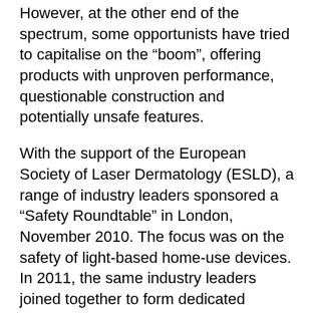However, at the other end of the spectrum, some opportunists have tried to capitalise on the “boom”, offering products with unproven performance, questionable construction and potentially unsafe features.
With the support of the European Society of Laser Dermatology (ESLD), a range of industry leaders sponsored a “Safety Roundtable” in London, November 2010. The focus was on the safety of light-based home-use devices. In 2011, the same industry leaders joined together to form dedicated international standards in cooperation with established standard bodies.
Following these discussions, the ASLMS meeting in Florida, February 2012, saw the creation of the “Home Use Device (HUD) Working Group”.
Together the industry leaders work to: